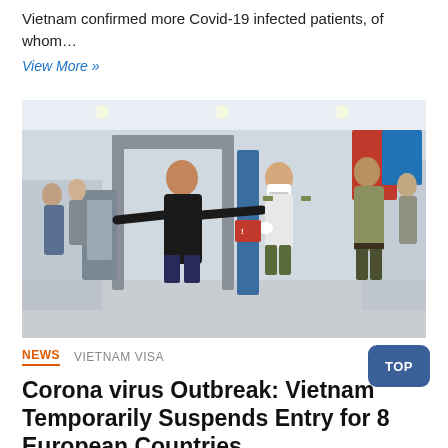Vietnam confirmed more Covid-19 infected patients, of whom…
View More »
[Figure (photo): Airport security screening scene: a woman in black outfit passes through a metal detector arch while a female security officer wearing a face mask and white gloves directs her; another uniformed officer stands to the right; busy airport terminal in the background.]
NEWS   VIETNAM VISA
Corona virus Outbreak: Vietnam Temporarily Suspends Entry for 8 European Countries